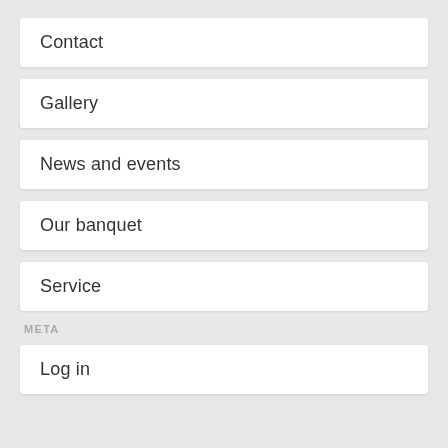Contact
Gallery
News and events
Our banquet
Service
META
Log in